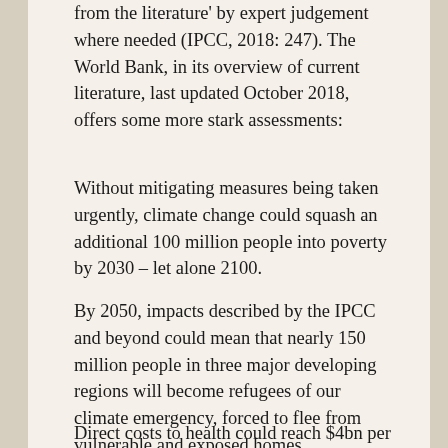from the literature' by expert judgement where needed (IPCC, 2018: 247). The World Bank, in its overview of current literature, last updated October 2018, offers some more stark assessments:
Without mitigating measures being taken urgently, climate change could squash an additional 100 million people into poverty by 2030 – let alone 2100.
By 2050, impacts described by the IPCC and beyond could mean that nearly 150 million people in three major developing regions will become refugees of our climate emergency, forced to flee from vulnerable and exposed homes.
Direct costs to health could reach $4bn per